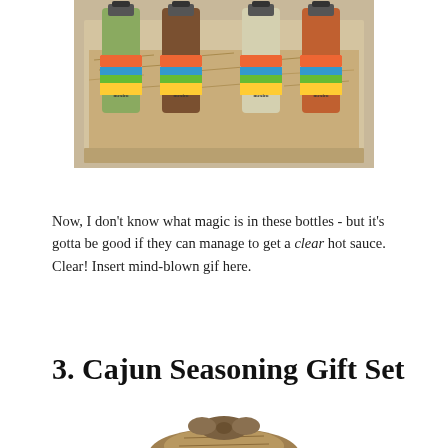[Figure (photo): Four Mexico-branded hot sauce bottles with colorful labels nestled in straw/hay inside a cardboard box gift set]
Now, I don't know what magic is in these bottles - but it's gotta be good if they can manage to get a clear hot sauce. Clear! Insert mind-blown gif here.
3. Cajun Seasoning Gift Set
[Figure (photo): A burlap-wrapped gift bundle, partially visible at the bottom of the page]